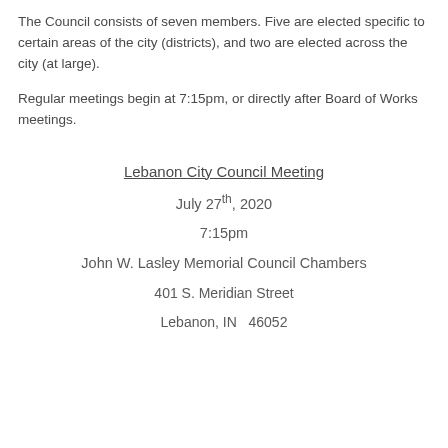The Council consists of seven members. Five are elected specific to certain areas of the city (districts), and two are elected across the city (at large).
Regular meetings begin at 7:15pm, or directly after Board of Works meetings.
Lebanon City Council Meeting
July 27th, 2020
7:15pm
John W. Lasley Memorial Council Chambers
401 S. Meridian Street
Lebanon, IN   46052